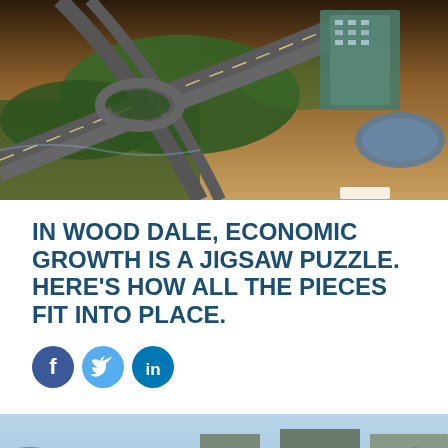[Figure (photo): Aerial tilt-shift view of a highway interchange with green landscaping and a modern building complex at dusk/twilight]
IN WOOD DALE, ECONOMIC GROWTH IS A JIGSAW PUZZLE. HERE'S HOW ALL THE PIECES FIT INTO PLACE.
[Figure (infographic): Social media share icons: Facebook (dark blue circle with white f), Twitter (light blue circle with white bird), LinkedIn (medium blue circle with white in)]
[Figure (photo): Aerial view of industrial/warehouse buildings with large grey rooftops, roads, parking lots, and trees in autumn colors, next to a body of water]